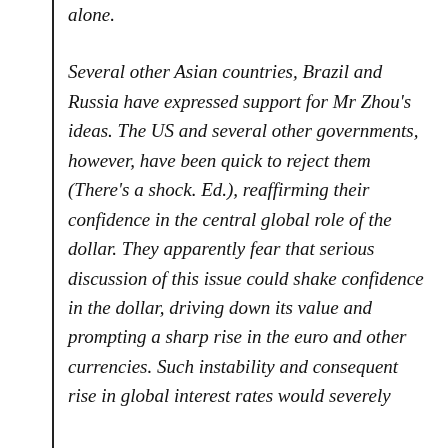alone.
Several other Asian countries, Brazil and Russia have expressed support for Mr Zhou's ideas. The US and several other governments, however, have been quick to reject them (There's a shock. Ed.), reaffirming their confidence in the central global role of the dollar. They apparently fear that serious discussion of this issue could shake confidence in the dollar, driving down its value and prompting a sharp rise in the euro and other currencies. Such instability and consequent rise in global interest rates would severely